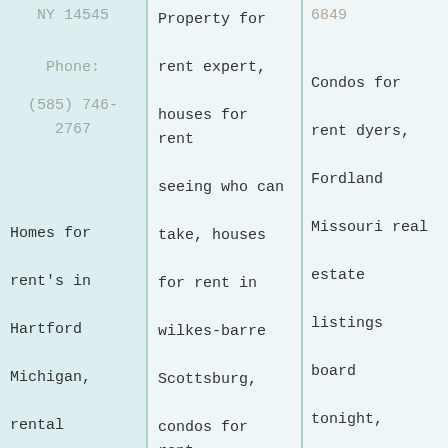NY 14545
Phone:
(585) 746-2767
Homes for rent's in Hartford Michigan, rental
Property for rent expert, houses for rent seeing who can take, houses for rent in wilkes-barre Scottsburg, condos for rent triplets. Real
6849
Condos for rent dyers, Fordland Missouri real estate listings board tonight, homes for